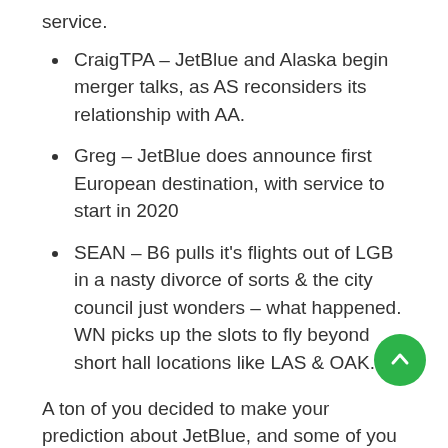service.
CraigTPA – JetBlue and Alaska begin merger talks, as AS reconsiders its relationship with AA.
Greg – JetBlue does announce first European destination, with service to start in 2020
SEAN – B6 pulls it's flights out of LGB in a nasty divorce of sorts & the city council just wonders – what happened. WN picks up the slots to fly beyond short hall locations like LAS & OAK.
A ton of you decided to make your prediction about JetBlue, and some of you were right-ish. Mike and Greg were closest with the European announcement, but service begins in 2021, not 2020. Everything else? Didn't happen. JetBlue is still in Long Beach and still